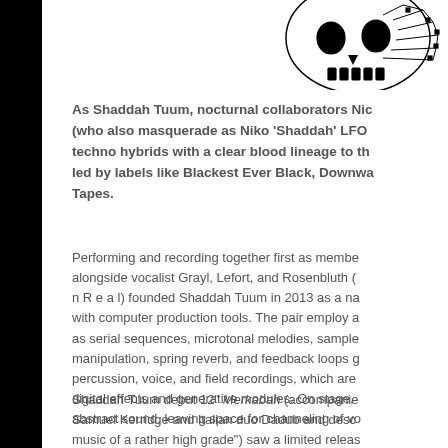[Figure (illustration): Black and white skull illustration with circuit board or geometric pattern details, positioned in upper right corner]
As Shaddah Tuum, nocturnal collaborators Nic (who also masquerade as Niko 'Shaddah' LFO techno hybrids with a clear blood lineage to th led by labels like Blackest Ever Black, Downwa Tapes.
Performing and recording together first as membe alongside vocalist Grayl, Lefort, and Rosenbluth ( n R e a l) founded Shaddah Tuum in 2013 as a na with computer production tools. The pair employ a as serial sequences, microtonal melodies, sample manipulation, spring reverb, and feedback loops g percussion, voice, and field recordings, which are digital effects and generative modules. On stage, abstract sound, leaving space for channeling of vo
Shaddah Tuum debut 12" Merkabah (accompanie Samuel Kerridge and Italian duo Dadub and desc music of a rather high grade") saw a limited releas based sound art collective curated by Lefort and